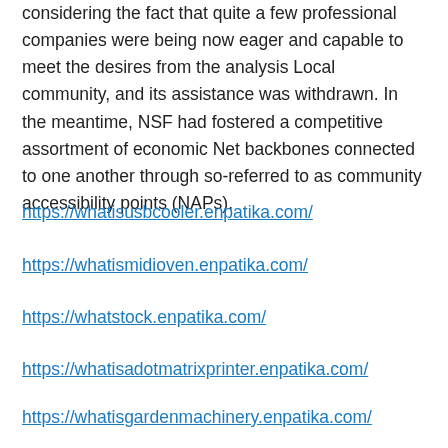considering the fact that quite a few professional companies were being now eager and capable to meet the desires from the analysis Local community, and its assistance was withdrawn. In the meantime, NSF had fostered a competitive assortment of economic Net backbones connected to one another through so-referred to as community accessibility points (NAPs).
https://whatisusbcooler.enpatika.com/
https://whatismidioven.enpatika.com/
https://whatstock.enpatika.com/
https://whatisadotmatrixprinter.enpatika.com/
https://whatisgardenmachinery.enpatika.com/
https://howmuchissilver.enpatika.com/